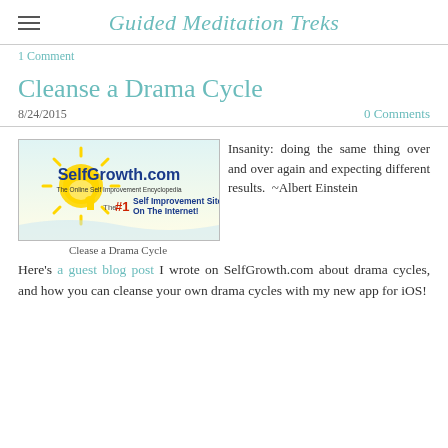Guided Meditation Treks
1 Comment
Cleanse a Drama Cycle
8/24/2015    0 Comments
[Figure (logo): SelfGrowth.com logo - The Online Self Improvement Encyclopedia, The #1 Self Improvement Site On The Internet!]
Clease a Drama Cycle
Insanity: doing the same thing over and over again and expecting different results. ~Albert Einstein
Here's a guest blog post I wrote on SelfGrowth.com about drama cycles, and how you can cleanse your own drama cycles with my new app for iOS!